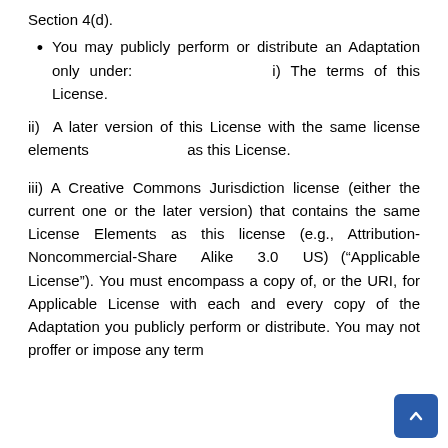Section 4(d).
You may publicly perform or distribute an Adaptation only under:                                         i) The terms of this License.
ii)  A later version of this License with the same license elements                              as this License.
iii)  A Creative Commons Jurisdiction license (either the current one or the later version) that contains the same License Elements as this license (e.g., Attribution-Noncommercial-Share  Alike  3.0  US) (“Applicable License”). You must encompass a copy of, or the URI, for Applicable License with each and every copy of the Adaptation you publicly perform or distribute. You may not proffer or impose any term